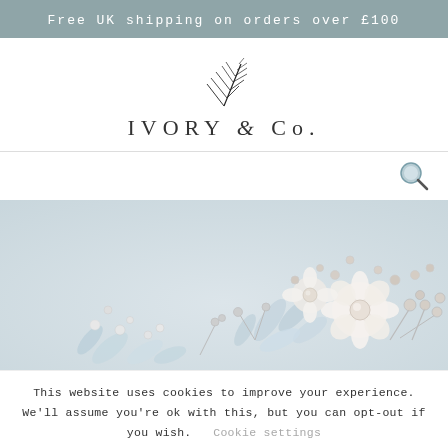Free UK shipping on orders over £100
[Figure (logo): Ivory & Co. brand logo with a stylized leaf/feather illustration above the text 'IVORY & Co.']
[Figure (photo): Close-up product photo of a bridal hair comb accessory featuring silver leaves, crystal rhinestones, and pearl flowers on a pale blue-grey background]
This website uses cookies to improve your experience. We'll assume you're ok with this, but you can opt-out if you wish.
Cookie settings
ACCEPT